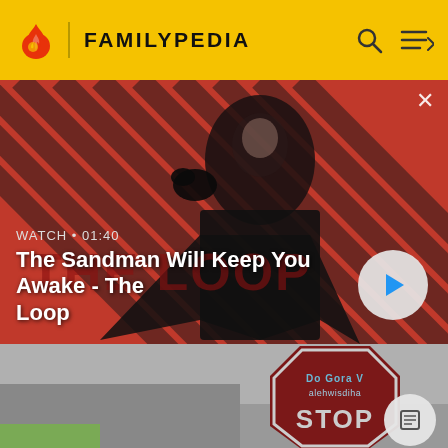FAMILYPEDIA
[Figure (screenshot): Video thumbnail showing a man in dark clothing with a crow on his shoulder, against a red and black diagonal striped background. Text overlay reads 'THE LOOP'. WATCH • 01:40. Title: The Sandman Will Keep You Awake - The Loop. Play button on right.]
[Figure (photo): Photo of a stop sign with text 'Do Gora V alehwisdiha STOP' in a parking lot setting.]